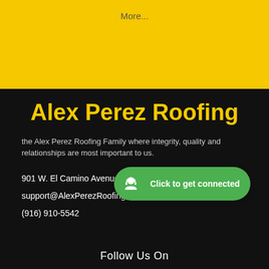More...
Alex Perez Roofing
the Alex Perez Roofing Family where integrity, quality and relationships are most important to us.
901 W. El Camino Avenue, Sacramento, CA 95833
support@AlexPerezRoofing.com
(916) 910-5542
[Figure (screenshot): Green chat widget with headset icon and text 'Click to get connected']
Follow Us On